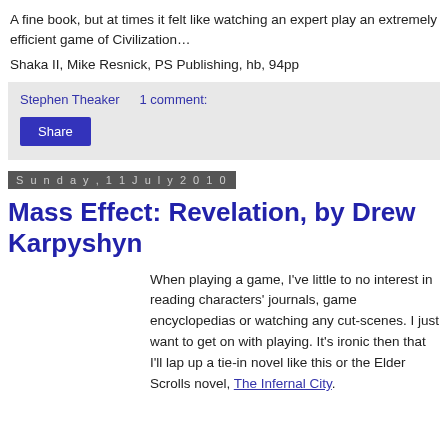A fine book, but at times it felt like watching an expert play an extremely efficient game of Civilization…
Shaka II, Mike Resnick, PS Publishing, hb, 94pp
Stephen Theaker   1 comment:
Share
Sunday, 11 July 2010
Mass Effect: Revelation, by Drew Karpyshyn
When playing a game, I've little to no interest in reading characters' journals, game encyclopedias or watching any cut-scenes. I just want to get on with playing. It's ironic then that I'll lap up a tie-in novel like this or the Elder Scrolls novel, The Infernal City.